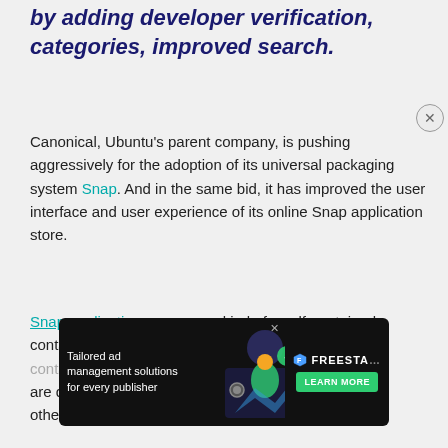by adding developer verification, categories, improved search.
Canonical, Ubuntu's parent company, is pushing aggressively for the adoption of its universal packaging system Snap. And in the same bid, it has improved the user interface and user experience of its online Snap application store.
Snap applications are a new kind of s self-contained, containerized applications. They contain most of their own dependencies and are designed to... other applications through security
[Figure (other): Advertisement banner for Freestar ad management solutions with dark background, illustrated graphic, and Learn More button. A close (X) button appears in the upper right corner.]